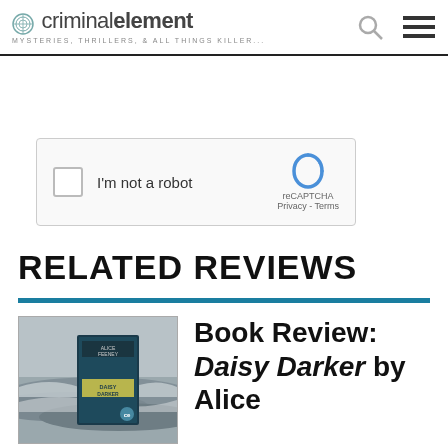criminalelement — MYSTERIES, THRILLERS, & ALL THINGS KILLER...
[Figure (screenshot): reCAPTCHA widget with checkbox labeled I'm not a robot, with reCAPTCHA logo, Privacy and Terms links]
Post Comment
RELATED REVIEWS
[Figure (photo): Book cover of Daisy Darker by Alice Feeney, showing a moody beach scene with ocean waves and the book cover inset]
Book Review: Daisy Darker by Alice